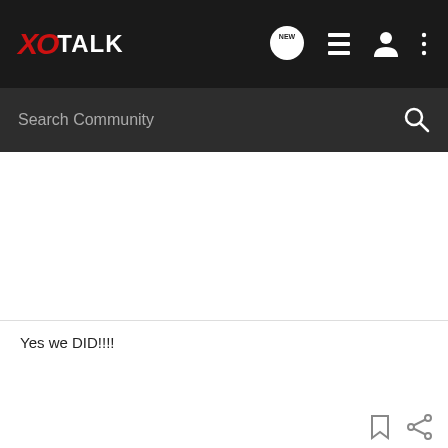XO TALK
Search Community
Yes we DID!!!!